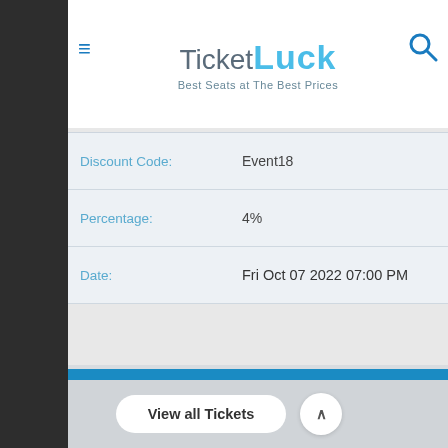[Figure (logo): TicketLuck logo with tagline 'Best Seats at The Best Prices']
| Field | Value |
| --- | --- |
| Discount Code: | Event18 |
| Percentage: | 4% |
| Date: | Fri Oct 07 2022 07:00 PM |
ADVANCE SEARCH
TYPE EVENT
SELECT CITY
SELECT VENUE
View all Tickets